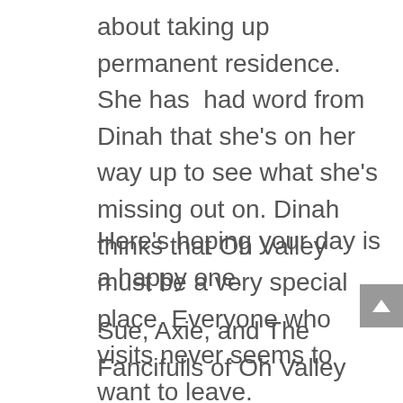about taking up permanent residence. She has  had word from Dinah that she's on her way up to see what she's missing out on. Dinah thinks that Oh Valley must be a very special place. Everyone who visits never seems to want to leave.
Here's hoping your day is a happy one.
Sue, Axie, and The Fancifulls of Oh Valley